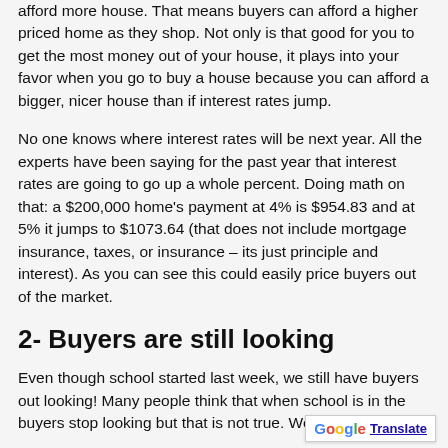afford more house. That means buyers can afford a higher priced home as they shop. Not only is that good for you to get the most money out of your house, it plays into your favor when you go to buy a house because you can afford a bigger, nicer house than if interest rates jump.
No one knows where interest rates will be next year. All the experts have been saying for the past year that interest rates are going to go up a whole percent. Doing math on that: a $200,000 home's payment at 4% is $954.83 and at 5% it jumps to $1073.64 (that does not include mortgage insurance, taxes, or insurance – its just principle and interest). As you can see this could easily price buyers out of the market.
2- Buyers are still looking
Even though school started last week, we still have buyers out looking! Many people think that when school is in the buyers stop looking but that is not true. We ar…